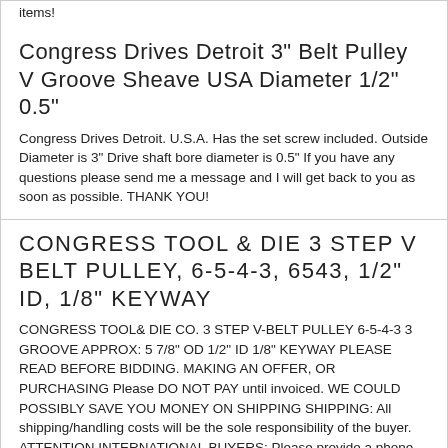items!
Congress Drives Detroit 3" Belt Pulley V Groove Sheave USA Diameter 1/2" 0.5"
Congress Drives Detroit. U.S.A. Has the set screw included. Outside Diameter is 3" Drive shaft bore diameter is 0.5" If you have any questions please send me a message and I will get back to you as soon as possible. THANK YOU!
CONGRESS TOOL & DIE 3 STEP V BELT PULLEY, 6-5-4-3, 6543, 1/2" ID, 1/8" KEYWAY
CONGRESS TOOL& DIE CO. 3 STEP V-BELT PULLEY 6-5-4-3 3 GROOVE APPROX: 5 7/8" OD 1/2" ID 1/8" KEYWAY PLEASE READ BEFORE BIDDING. MAKING AN OFFER, OR PURCHASING Please DO NOT PAY until invoiced. WE COULD POSSIBLY SAVE YOU MONEY ON SHIPPING SHIPPING: All shipping/handling costs will be the sole responsibility of the buyer. ATTENTION INTERNATIONAL BUYERS: Please provide a phone number and shipping address so we can get the item shipped to you. Do not forget about any other charges which are charged by the carrier. This is something we have no control over and is an additional charge to shipping. RETURN POLICY: WE WILL REFUND YOUR MONEY IF THE ITEM YOU RECEIVE DOES NOT WORK AT ALL UNLESS IT WAS LISTED AS BEING PARTS ONLY